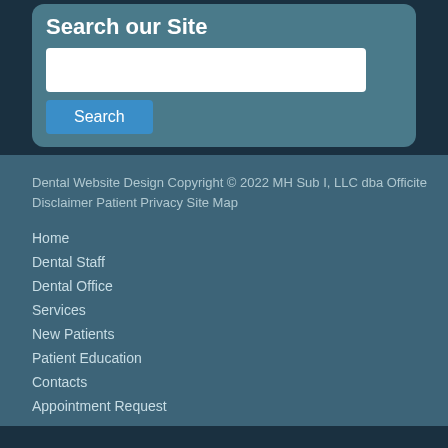Search our Site
Dental Website Design Copyright © 2022 MH Sub I, LLC dba Officite Disclaimer Patient Privacy Site Map
Home
Dental Staff
Dental Office
Services
New Patients
Patient Education
Contacts
Appointment Request